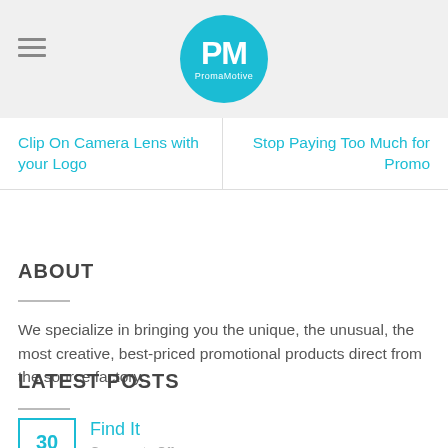[Figure (logo): PromaMotive circular logo with teal background and white PM letters]
Clip On Camera Lens with your Logo
Stop Paying Too Much for Promo
ABOUT
We specialize in bringing you the unique, the unusual, the most creative, best-priced promotional products direct from the source factory.
LATEST POSTS
Find It
Comments Off